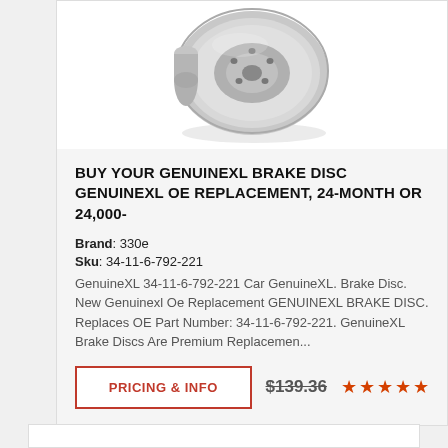[Figure (photo): Brake disc / rotor product photo, silver metallic, viewed from slight angle showing ventilation holes]
BUY YOUR GENUINEXL BRAKE DISC GENUINEXL OE REPLACEMENT, 24-MONTH OR 24,000-
Brand: 330e
Sku: 34-11-6-792-221
GenuineXL 34-11-6-792-221 Car GenuineXL. Brake Disc. New Genuinexl Oe Replacement GENUINEXL BRAKE DISC. Replaces OE Part Number: 34-11-6-792-221. GenuineXL Brake Discs Are Premium Replacemen...
PRICING & INFO
$139.36